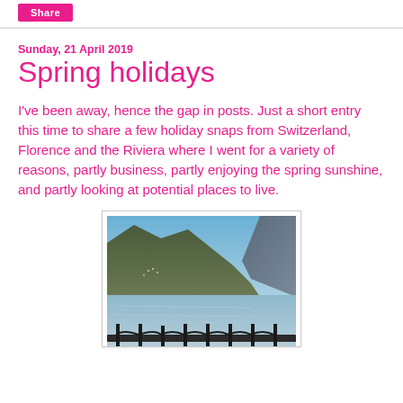Share
Sunday, 21 April 2019
Spring holidays
I've been away, hence the gap in posts. Just a short entry this time to share a few holiday snaps from Switzerland, Florence and the Riviera where I went for a variety of reasons, partly business, partly enjoying the spring sunshine, and partly looking at potential places to live.
[Figure (photo): Photograph of a lake surrounded by mountains, viewed from a balcony with ornate iron railings in the foreground. Blue sky and calm water visible, with hillside towns in the background.]